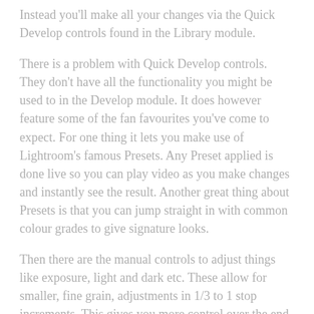Instead you'll make all your changes via the Quick Develop controls found in the Library module.
There is a problem with Quick Develop controls. They don't have all the functionality you might be used to in the Develop module. It does however feature some of the fan favourites you've come to expect. For one thing it lets you make use of Lightroom's famous Presets. Any Preset applied is done live so you can play video as you make changes and instantly see the result. Another great thing about Presets is that you can jump straight in with common colour grades to give signature looks.
Then there are the manual controls to adjust things like exposure, light and dark etc. These allow for smaller, fine grain, adjustments in 1/3 to 1 stop increments. This gives you more control over the end